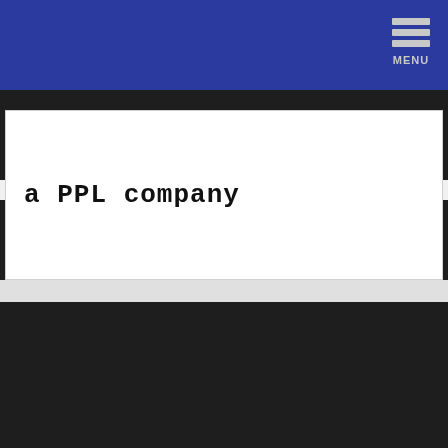MENU
[Figure (logo): Partial logo image — red and dark color blocks]
a PPL company